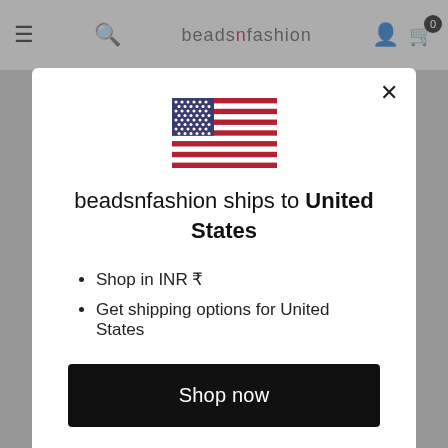[Figure (screenshot): A modal dialog popup on the beadsnfashion e-commerce website showing a US flag, shipping information, and a 'Shop now' button]
beadsnfashion ships to United States
Shop in INR ₹
Get shipping options for United States
Shop now
Change shipping country